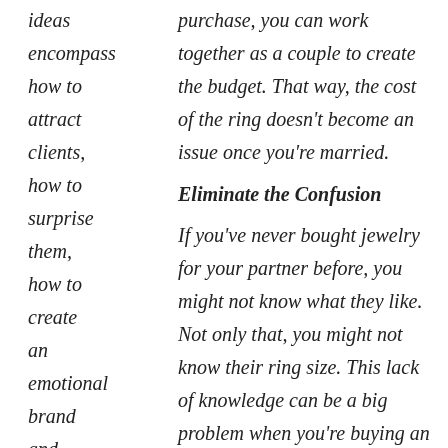ideas encompass how to attract clients, how to surprise them, how to create an emotional brand and more. Although
purchase, you can work together as a couple to create the budget. That way, the cost of the ring doesn’t become an issue once you’re married.
Eliminate the Confusion
If you’ve never bought jewelry for your partner before, you might not know what they like. Not only that, you might not know their ring size. This lack of knowledge can be a big problem when you’re buying an engagement ring. That’s why you should bring your partner along when you shop for the engagement ring. When you and your partner shop for the engagement ring